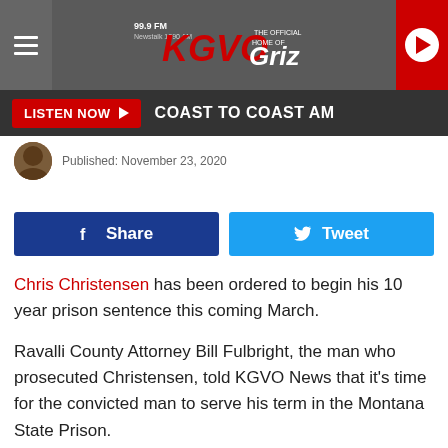[Figure (screenshot): KGVO radio station website header with hamburger menu, KGVO logo, Griz branding, and red play button]
LISTEN NOW ▶   COAST TO COAST AM
Published: November 23, 2020
[Figure (infographic): Facebook Share button and Twitter Tweet button in a social sharing bar]
Chris Christensen has been ordered to begin his 10 year prison sentence this coming March.
Ravalli County Attorney Bill Fulbright, the man who prosecuted Christensen, told KGVO News that it's time for the convicted man to serve his term in the Montana State Prison.
"This case is now back at the trial court for imposition of the sentence," said Fulbright. "You may recall that the case was